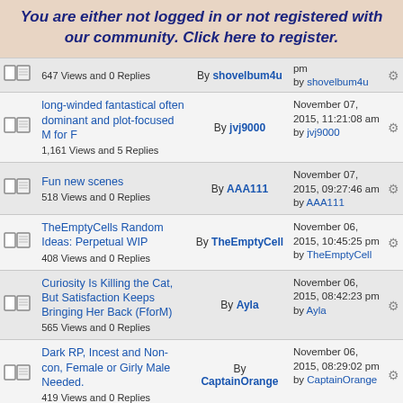You are either not logged in or not registered with our community. Click here to register.
|  |  | Topic | By | Date |  |
| --- | --- | --- | --- | --- | --- |
|  |  | 647 Views and 0 Replies | By shovelbum4u | pm
by shovelbum4u |  |
|  |  | long-winded fantastical often dominant and plot-focused M for F
1,161 Views and 5 Replies | By jvj9000 | November 07, 2015, 11:21:08 am
by jvj9000 |  |
|  |  | Fun new scenes
518 Views and 0 Replies | By AAA111 | November 07, 2015, 09:27:46 am
by AAA111 |  |
|  |  | TheEmptyCells Random Ideas: Perpetual WIP
408 Views and 0 Replies | By TheEmptyCell | November 06, 2015, 10:45:25 pm
by TheEmptyCell |  |
|  |  | Curiosity Is Killing the Cat, But Satisfaction Keeps Bringing Her Back (FforM)
565 Views and 0 Replies | By Ayla | November 06, 2015, 08:42:23 pm
by Ayla |  |
|  |  | Dark RP, Incest and Non-con, Female or Girly Male Needed.
419 Views and 0 Replies | By CaptainOrange | November 06, 2015, 08:29:02 pm
by CaptainOrange |  |
|  |  |  |  | November 06, |  |